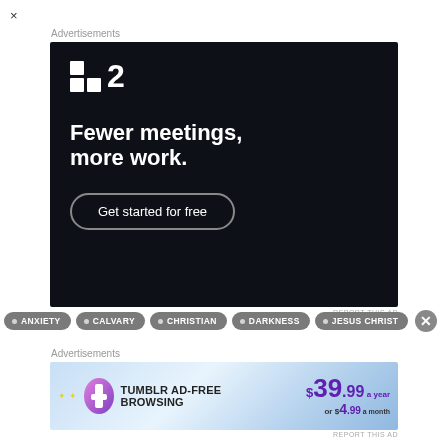×
Advertisements
[Figure (illustration): Dark-themed advertisement for a project management tool showing logo '■2', tagline 'Fewer meetings, more work.' and a 'Get started for free' button on black background]
REPORT THIS AD
• ANXIETY
• CALVARY
• CHRISTIAN
• DARKNESS
• JESUS CHRIST
Advertisements
[Figure (illustration): Tumblr Ad-Free Browsing advertisement showing $39.99 a year or $4.99 a month pricing with Tumblr logo on light blue gradient background]
REPORT THIS AD